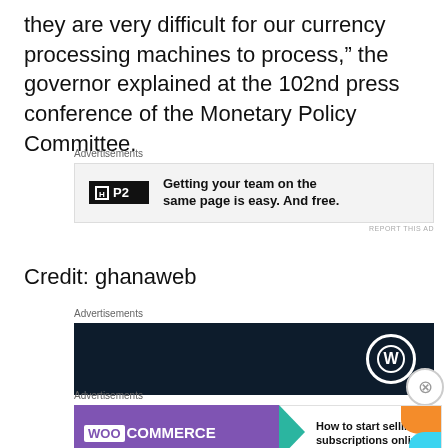they are very difficult for our currency processing machines to process,” the governor explained at the 102nd press conference of the Monetary Policy Committee.
[Figure (other): P2 advertisement banner: logo with 'P2' text and icon, headline 'Getting your team on the same page is easy. And free.']
Credit: ghanaweb
[Figure (other): WordPress dark advertisement banner with WordPress logo circle icon on dark navy background]
[Figure (other): WooCommerce advertisement banner: purple WooCommerce logo with green arrow, text 'How to start selling subscriptions online']